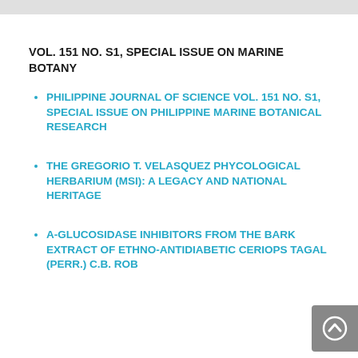VOL. 151 NO. S1, SPECIAL ISSUE ON MARINE BOTANY
PHILIPPINE JOURNAL OF SCIENCE VOL. 151 NO. S1, SPECIAL ISSUE ON PHILIPPINE MARINE BOTANICAL RESEARCH
THE GREGORIO T. VELASQUEZ PHYCOLOGICAL HERBARIUM (MSI): A LEGACY AND NATIONAL HERITAGE
A-GLUCOSIDASE INHIBITORS FROM THE BARK EXTRACT OF ETHNO-ANTIDIABETIC CERIOPS TAGAL (PERR.) C.B. ROB